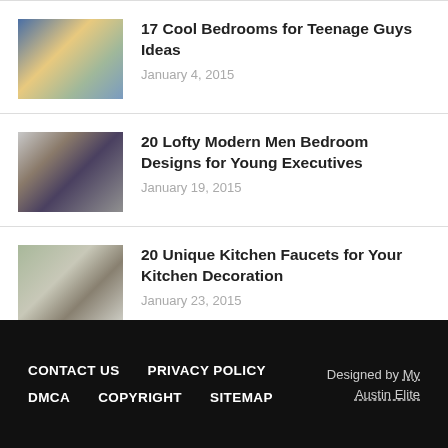17 Cool Bedrooms for Teenage Guys Ideas — January 4, 2015
20 Lofty Modern Men Bedroom Designs for Young Executives — January 19, 2015
20 Unique Kitchen Faucets for Your Kitchen Decoration — January 23, 2015
CONTACT US   PRIVACY POLICY   DMCA   COPYRIGHT   SITEMAP   Designed by My Austin Elite